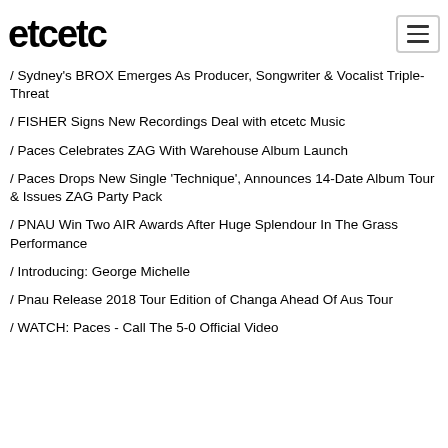etcetc
/ Sydney's BROX Emerges As Producer, Songwriter & Vocalist Triple-Threat
/ FISHER Signs New Recordings Deal with etcetc Music
/ Paces Celebrates ZAG With Warehouse Album Launch
/ Paces Drops New Single 'Technique', Announces 14-Date Album Tour & Issues ZAG Party Pack
/ PNAU Win Two AIR Awards After Huge Splendour In The Grass Performance
/ Introducing: George Michelle
/ Pnau Release 2018 Tour Edition of Changa Ahead Of Aus Tour
/ WATCH: Paces - Call The 5-0 Official Video